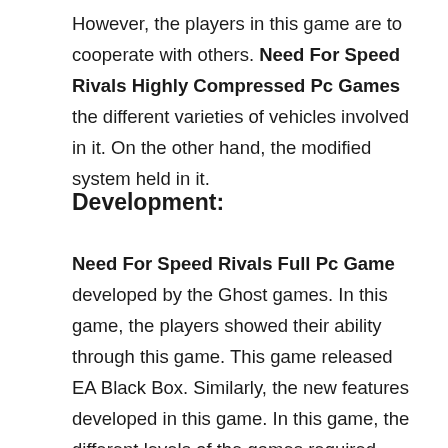However, the players in this game are to cooperate with others. Need For Speed Rivals Highly Compressed Pc Games the different varieties of vehicles involved in it. On the other hand, the modified system held in it.
Development:
Need For Speed Rivals Full Pc Game developed by the Ghost games. In this game, the players showed their ability through this game. This game released EA Black Box. Similarly, the new features developed in this game. In this game, the different levels of the games required. Meanwhile, the series of the game developed on the 22 October 2012. Need For Speed Rivals APK Game, the different skills are shown